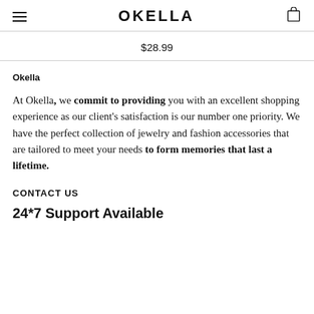OKELLA
$28.99
Okella
At Okella, we commit to providing you with an excellent shopping experience as our client's satisfaction is our number one priority. We have the perfect collection of jewelry and fashion accessories that are tailored to meet your needs to form memories that last a lifetime.
CONTACT US
24*7 Support Available